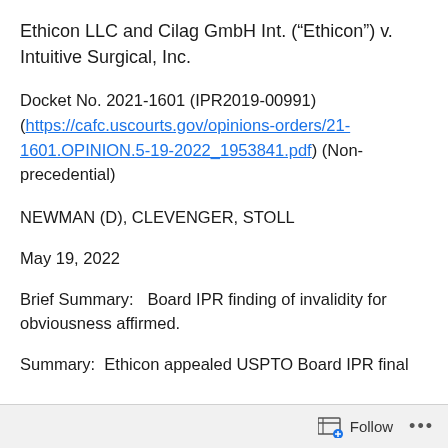Ethicon LLC and Cilag GmbH Int. (“Ethicon”) v. Intuitive Surgical, Inc.
Docket No. 2021-1601 (IPR2019-00991) (https://cafc.uscourts.gov/opinions-orders/21-1601.OPINION.5-19-2022_1953841.pdf) (Non-precedential)
NEWMAN (D), CLEVENGER, STOLL
May 19, 2022
Brief Summary:   Board IPR finding of invalidity for obviousness affirmed.
Summary:  Ethicon appealed USPTO Board IPR final